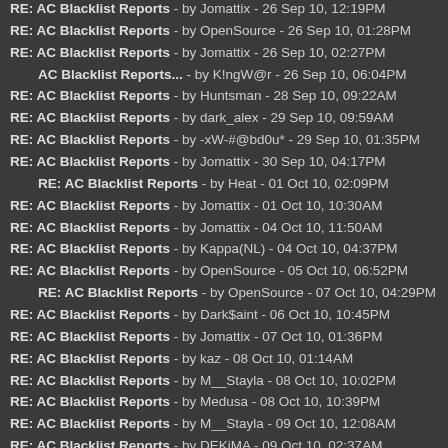RE: AC Blacklist Reports - by Jomattix - 26 Sep 10, 12:19PM
RE: AC Blacklist Reports - by OpenSource - 26 Sep 10, 01:28PM
RE: AC Blacklist Reports - by Jomattix - 26 Sep 10, 02:27PM
AC Blacklist Reports... - by K!ngW@r - 26 Sep 10, 06:04PM
RE: AC Blacklist Reports - by Huntsman - 28 Sep 10, 09:22AM
RE: AC Blacklist Reports - by dark_alex - 29 Sep 10, 09:59AM
RE: AC Blacklist Reports - by -xW-#@bd0u* - 29 Sep 10, 01:35PM
RE: AC Blacklist Reports - by Jomattix - 30 Sep 10, 04:17PM
RE: AC Blacklist Reports - by Heat - 01 Oct 10, 02:09PM
RE: AC Blacklist Reports - by Jomattix - 01 Oct 10, 10:30AM
RE: AC Blacklist Reports - by Jomattix - 04 Oct 10, 11:50AM
RE: AC Blacklist Reports - by Kappa(NL) - 04 Oct 10, 04:37PM
RE: AC Blacklist Reports - by OpenSource - 05 Oct 10, 06:52PM
RE: AC Blacklist Reports - by OpenSource - 07 Oct 10, 04:29PM
RE: AC Blacklist Reports - by Dark$aint - 06 Oct 10, 10:45PM
RE: AC Blacklist Reports - by Jomattix - 07 Oct 10, 01:36PM
RE: AC Blacklist Reports - by kaz - 08 Oct 10, 01:14AM
RE: AC Blacklist Reports - by M__Stayla - 08 Oct 10, 10:02PM
RE: AC Blacklist Reports - by Medusa - 08 Oct 10, 10:39PM
RE: AC Blacklist Reports - by M__Stayla - 09 Oct 10, 12:08AM
RE: AC Blacklist Reports - by DEKiMA - 09 Oct 10, 02:37AM
RE: AC Blacklist Reports - by DEKiMA - 10 Oct 10, 03:30AM
RE: AC Blacklist Reports - by DEKiMA - 10 Oct 10, 09:26PM
RE: AC Blacklist Reports - by ManInTheBox - 11 Oct 10, 05:12AM